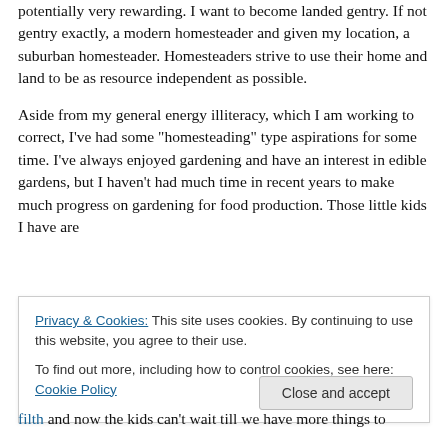potentially very rewarding. I want to become landed gentry. If not gentry exactly, a modern homesteader and given my location, a suburban homesteader. Homesteaders strive to use their home and land to be as resource independent as possible.
Aside from my general energy illiteracy, which I am working to correct, I’ve had some “homesteading” type aspirations for some time. I’ve always enjoyed gardening and have an interest in edible gardens, but I haven’t had much time in recent years to make much progress on gardening for food production. Those little kids I have are
Privacy & Cookies: This site uses cookies. By continuing to use this website, you agree to their use.
To find out more, including how to control cookies, see here: Cookie Policy
filth and now the kids can’t wait till we have more things to